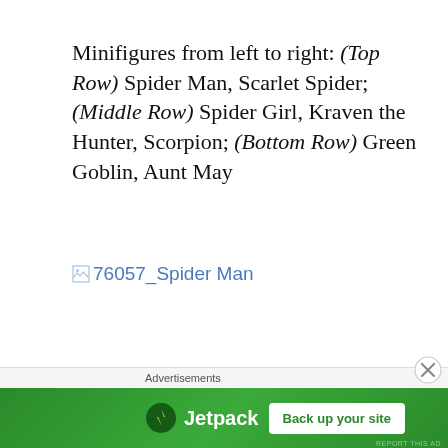Minifigures from left to right: (Top Row) Spider Man, Scarlet Spider; (Middle Row) Spider Girl, Kraven the Hunter, Scorpion; (Bottom Row) Green Goblin, Aunt May
[Figure (other): Broken image placeholder linking to '76057_Spider Man']
Advertisements
[Figure (other): Jetpack advertisement banner with 'Back up your site' button]